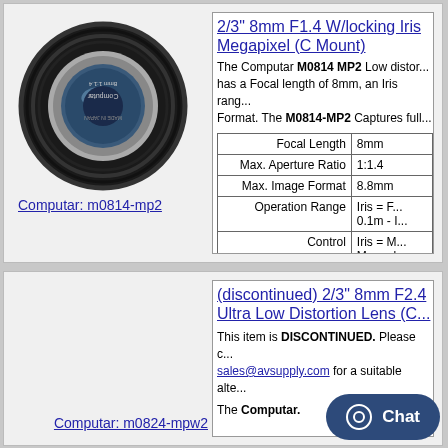[Figure (photo): Black camera lens - Computar 8mm 1:1.4 Made in Japan, circular lens with ribbed barrel]
Computar: m0814-mp2
2/3" 8mm F1.4 W/locking Iris Megapixel (C Mount)
The Computar M0814 MP2 Low distortion lens has a Focal length of 8mm, an Iris range... Format. The M0814-MP2 Captures full...
|  |  |
| --- | --- |
| Focal Length | 8mm |
| Max. Aperture Ratio | 1:1.4 |
| Max. Image Format | 8.8mm |
| Operation Range | Iris = F...
0.1m - I... |
| Control | Iris = M...
Manual ... |
Computar: m0824-mpw2
(discontinued) 2/3" 8mm F2.4 Ultra Low Distortion Lens (C...
This item is DISCONTINUED. Please contact sales@avsupply.com for a suitable alternative.
The Computar.